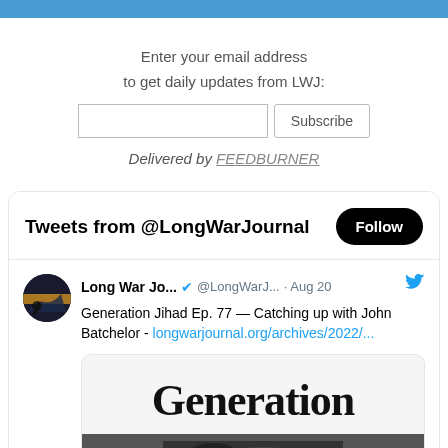Enter your email address
to get daily updates from LWJ:
Subscribe
Delivered by FEEDBURNER
Tweets from @LongWarJournal
Long War Jo... @LongWarJ... · Aug 20
Generation Jihad Ep. 77 — Catching up with John Batchelor - longwarjournal.org/archives/2022/...
[Figure (screenshot): Partial screenshot of a tweet card showing 'Generation' text in large bold serif font, with a blurry dark image below it]